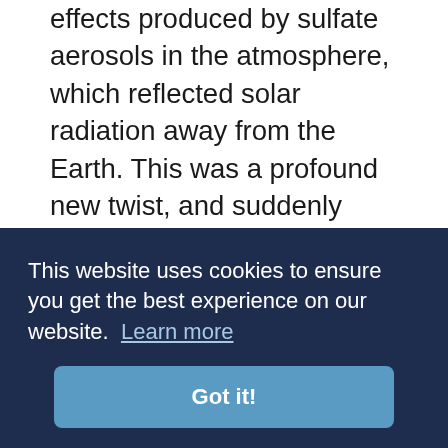effects produced by sulfate aerosols in the atmosphere, which reflected solar radiation away from the Earth. This was a profound new twist, and suddenly everyone started testing for sulfate aerosols, an industrial pollutant which is also the cause of acid rain. You may remember that from the 1970s as well. Cooling effects were added onto climate models, and for a time, a number of climatologists weren't sure which effect was going to be the more significant. That was all it took to make a sensational headline, and the mass media
This website uses cookies to ensure you get the best experience on our website. Learn more
Got it!